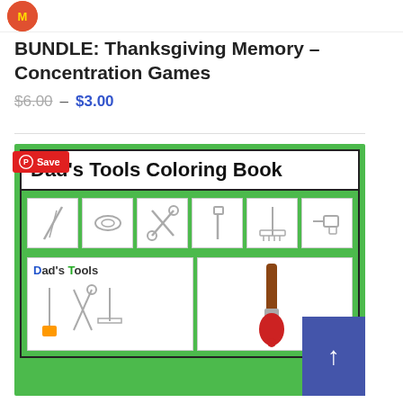MTc logo
BUNDLE: Thanksgiving Memory – Concentration Games
$6.00 – $3.00
[Figure (illustration): Dad's Tools Coloring Book product image showing a green-bordered coloring book cover with title 'Dad's Tools Coloring Book', a grid of tool icons (screwdrivers, hammer, wrench, rake, drill), and two panels showing the book cover art with colorful tools. A Pinterest Save badge is overlaid top-left. A blue scroll-up arrow button is bottom-right.]